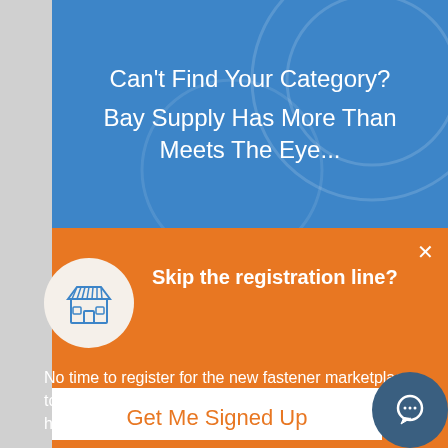Can't Find Your Category? Bay Supply Has More Than Meets The Eye...
Skip the registration line?
No time to register for the new fastener marketplace today? Leave your contact info and our team will handle registration for you.
Get Me Signed Up